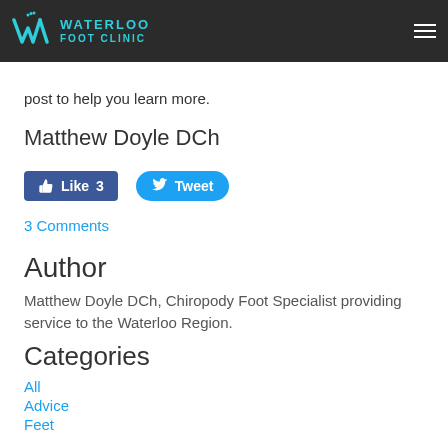WATERLOO FOOT CLINIC
post to help you learn more.
Matthew Doyle DCh
[Figure (other): Facebook Like button showing count 3 and Twitter Tweet button]
3 Comments
Author
Matthew Doyle DCh, Chiropody Foot Specialist providing service to the Waterloo Region.
Categories
All
Advice
Feet